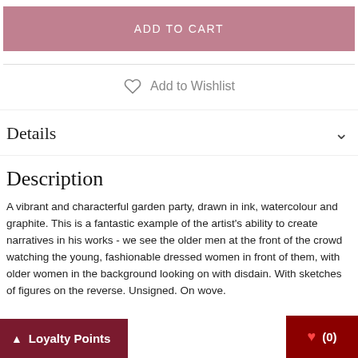ADD TO CART
Add to Wishlist
Details
Description
A vibrant and characterful garden party, drawn in ink, watercolour and graphite. This is a fantastic example of the artist's ability to create narratives in his works - we see the older men at the front of the crowd watching the young, fashionable dressed women in front of them, with older women in the background looking on with disdain. With sketches of figures on the reverse. Unsigned. On wove.
Loyalty Points
(0)